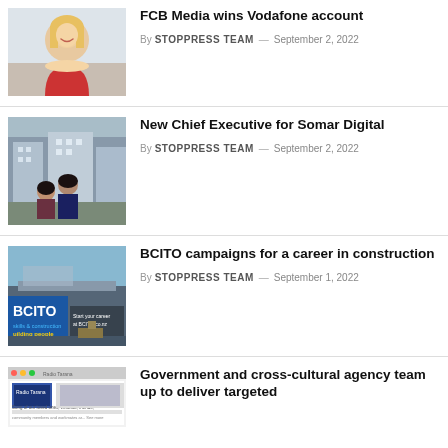[Figure (photo): Portrait photo of a smiling blonde woman in a red top]
FCB Media wins Vodafone account
By STOPPRESS TEAM — September 2, 2022
[Figure (photo): Two people standing outside in front of modern buildings]
New Chief Executive for Somar Digital
By STOPPRESS TEAM — September 2, 2022
[Figure (photo): BCITO branded image with text 'Start your career at BCITO.co.nz' and construction site]
BCITO campaigns for a career in construction
By STOPPRESS TEAM — September 1, 2022
[Figure (screenshot): Screenshot of a social media post from Radio Tarana]
Government and cross-cultural agency team up to deliver targeted